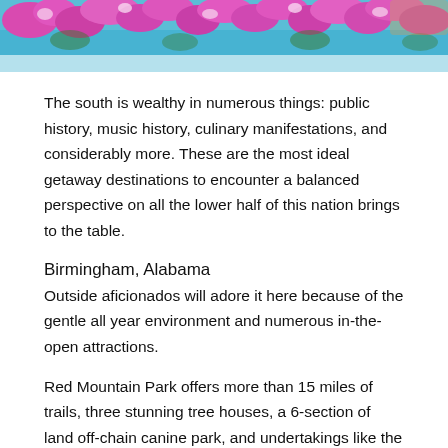[Figure (photo): Photo of colorful pink/magenta flowers against a blue sky/water background, cropped at the top of the page]
The south is wealthy in numerous things: public history, music history, culinary manifestations, and considerably more. These are the most ideal getaway destinations to encounter a balanced perspective on all the lower half of this nation brings to the table.
Birmingham, Alabama
Outside aficionados will adore it here because of the gentle all year environment and numerous in-the-open attractions.
Red Mountain Park offers more than 15 miles of trails, three stunning tree houses, a 6-section of land off-chain canine park, and undertakings like the Vulcan Materials Zip Trip and Kaul Adventure Tower.